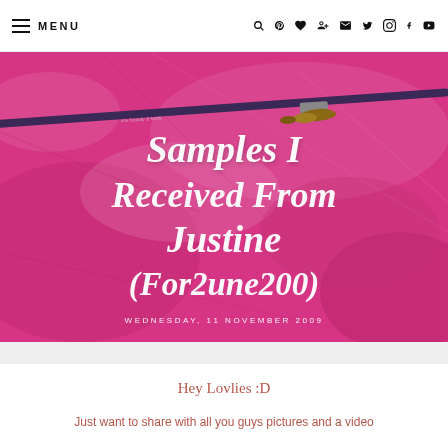MENU
[Figure (photo): Hero image with pink/magenta crinkled tissue paper background and a makeup brush across it. White italic bold text overlay reads 'Samples I Received From Justine (For2une200)' with date 'WEDNESDAY, 11 NOVEMBER 2009' below.]
Samples I Received From Justine (For2une200)
WEDNESDAY, 11 NOVEMBER 2009
Hey Lovlies :D
Just want to share with all you guys pictures and a video